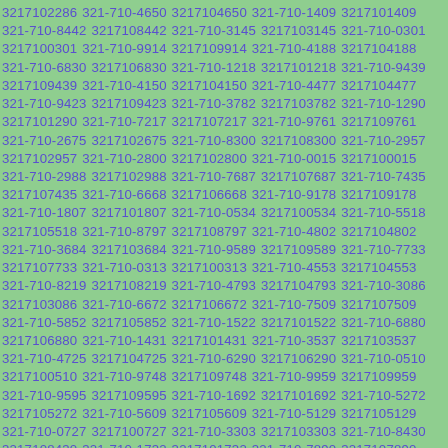3217102286 321-710-4650 3217104650 321-710-1409 3217101409 321-710-8442 3217108442 321-710-3145 3217103145 321-710-0301 3217100301 321-710-9914 3217109914 321-710-4188 3217104188 321-710-6830 3217106830 321-710-1218 3217101218 321-710-9439 3217109439 321-710-4150 3217104150 321-710-4477 3217104477 321-710-9423 3217109423 321-710-3782 3217103782 321-710-1290 3217101290 321-710-7217 3217107217 321-710-9761 3217109761 321-710-2675 3217102675 321-710-8300 3217108300 321-710-2957 3217102957 321-710-2800 3217102800 321-710-0015 3217100015 321-710-2988 3217102988 321-710-7687 3217107687 321-710-7435 3217107435 321-710-6668 3217106668 321-710-9178 3217109178 321-710-1807 3217101807 321-710-0534 3217100534 321-710-5518 3217105518 321-710-8797 3217108797 321-710-4802 3217104802 321-710-3684 3217103684 321-710-9589 3217109589 321-710-7733 3217107733 321-710-0313 3217100313 321-710-4553 3217104553 321-710-8219 3217108219 321-710-4793 3217104793 321-710-3086 3217103086 321-710-6672 3217106672 321-710-7509 3217107509 321-710-5852 3217105852 321-710-1522 3217101522 321-710-6880 3217106880 321-710-1431 3217101431 321-710-3537 3217103537 321-710-4725 3217104725 321-710-6290 3217106290 321-710-0510 3217100510 321-710-9748 3217109748 321-710-9959 3217109959 321-710-9595 3217109595 321-710-1692 3217101692 321-710-5272 3217105272 321-710-5609 3217105609 321-710-5129 3217105129 321-710-0727 3217100727 321-710-3303 3217103303 321-710-8430 3217108430 321-710-1732 3217101732 321-710-7890 3217107890